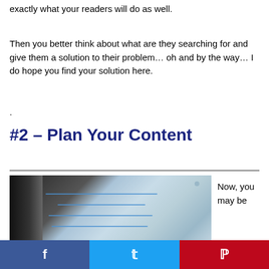exactly what your readers will do as well.
Then you better think about what are they searching for and give them a solution to their problem… oh and by the way… I do hope you find your solution here.
.
#2 – Plan Your Content
[Figure (photo): Close-up photo of a notebook page with handwritten blue ink notes/lines, dark corner visible top-left]
Now, you may be
[Figure (infographic): Social sharing bar with Facebook, Twitter, and Pinterest buttons]